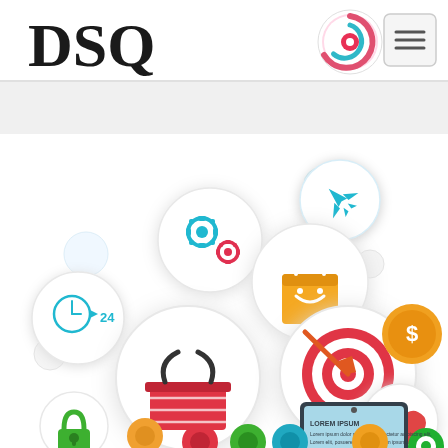[Figure (logo): DSQ logo with text 'DSQ' in large serif font and a colorful spiral target icon in red, pink and teal]
[Figure (illustration): E-commerce / digital marketing infographic illustration showing a smartphone/tablet with various floating circular icons: gears/settings (teal), airplane (teal), shopping bag (orange), shopping basket (red), clock with 24 (teal), padlock (green), target/bullseye with arrow (red/white), dollar coin (orange/gold), heart (red/coral), and smaller icons for shopping bag, chat bubble, house, phone at the bottom. Background is white with light circular bubble elements.]